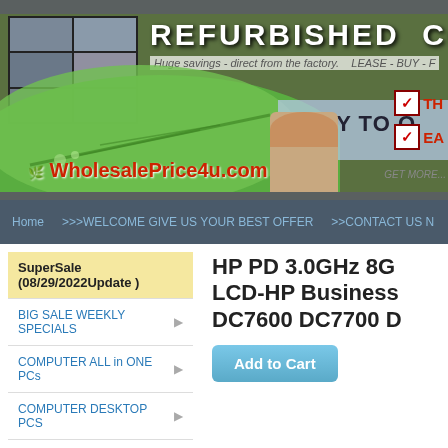[Figure (screenshot): Refurbished Computer website banner with logo images, green leaf background, 'REFURBISHED COMPUTER' title, 'WholesalePrice4u.com' text, person image, checkboxes with TH and EA labels]
Home   >>>WELCOME GIVE US YOUR BEST OFFER   >>CONTACT US N
SuperSale (08/29/2022Update )
BIG SALE WEEKLY SPECIALS
COMPUTER ALL in ONE PCs
COMPUTER DESKTOP PCS
COMPUTER TOWER PCS
HP PD 3.0GHz 8G LCD-HP Business DC7600 DC7700 D
Add to Cart